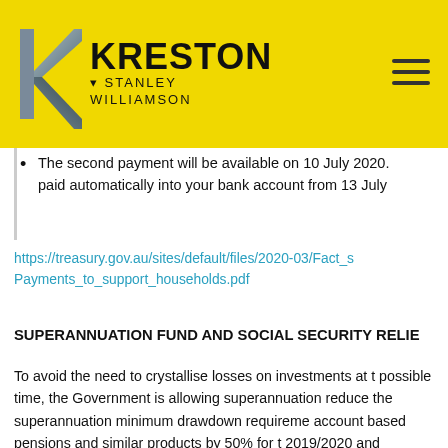[Figure (logo): Kreston Stanley Williamson logo on yellow background with hamburger menu icon]
The second payment will be available on 10 July 2020. paid automatically into your bank account from 13 July
https://treasury.gov.au/sites/default/files/2020-03/Fact_s Payments_to_support_households.pdf
SUPERANNUATION FUND AND SOCIAL SECURITY RELIE
To avoid the need to crystallise losses on investments at t possible time, the Government is allowing superannuation reduce the superannuation minimum drawdown requireme account based pensions and similar products by 50% for t 2019/2020 and 2020/2021 income years.